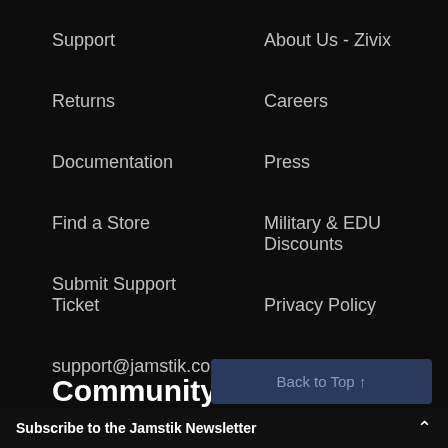Support
About Us - Zivix
Returns
Careers
Documentation
Press
Find a Store
Military & EDU Discounts
Submit Support Ticket
Privacy Policy
support@jamstik.com
Terms of Service
(612) 225-0096
Community
Back to Top ↑
Subscribe to the Jamstik Newsletter